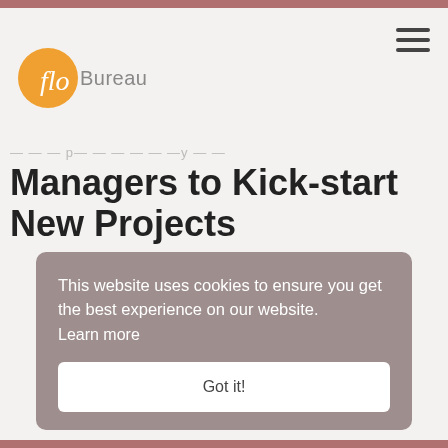Bureau flo
Managers to Kick-start New Projects
This website uses cookies to ensure you get the best experience on our website. Learn more
Got it!